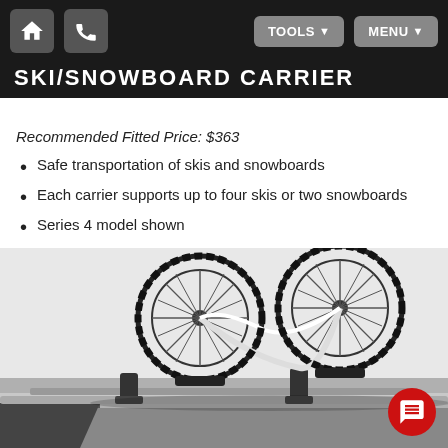SKI/SNOWBOARD CARRIER
Recommended Fitted Price: $363
Safe transportation of skis and snowboards
Each carrier supports up to four skis or two snowboards
Series 4 model shown
[Figure (photo): A bicycle mounted on a roof rack carrier on top of a silver SUV, showing the bike rack product in use.]